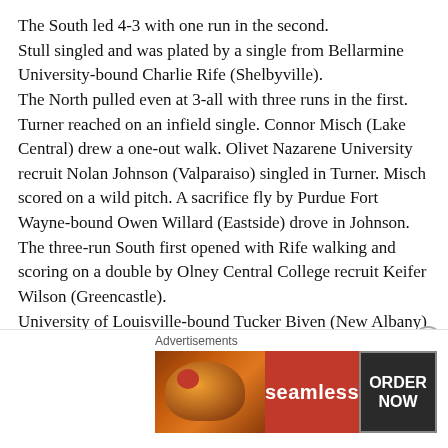The South led 4-3 with one run in the second. Stull singled and was plated by a single from Bellarmine University-bound Charlie Rife (Shelbyville). The North pulled even at 3-all with three runs in the first. Turner reached on an infield single. Connor Misch (Lake Central) drew a one-out walk. Olivet Nazarene University recruit Nolan Johnson (Valparaiso) singled in Turner. Misch scored on a wild pitch. A sacrifice fly by Purdue Fort Wayne-bound Owen Willard (Eastside) drove in Johnson. The three-run South first opened with Rife walking and scoring on a double by Olney Central College recruit Keifer Wilson (Greencastle). University of Louisville-bound Tucker Biven (New Albany) followed with a triple to knock in Wilson. A sacrifice fly by Colorado Mesa recruit Dominic Decker (Silver Creek) plated
[Figure (screenshot): Advertisement banner for Seamless food ordering service showing pizza image on left, red Seamless logo in center, and ORDER NOW button on right with dark background.]